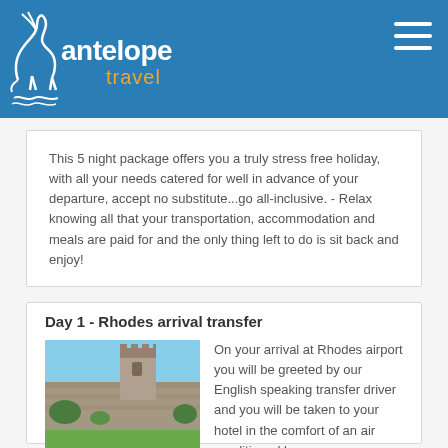antelope travel
This 5 night package offers you a truly stress free holiday, with all your needs catered for well in advance of your departure, accept no substitute...go all-inclusive. - Relax knowing all that your transportation, accommodation and meals are paid for and the only thing left to do is sit back and enjoy!
Day 1 - Rhodes arrival transfer
[Figure (photo): Photo of Rhodes old town city walls with medieval tower and green lawn in foreground]
On your arrival at Rhodes airport you will be greeted by our English speaking transfer driver and you will be taken to your hotel in the comfort of an air conditioned luxury car